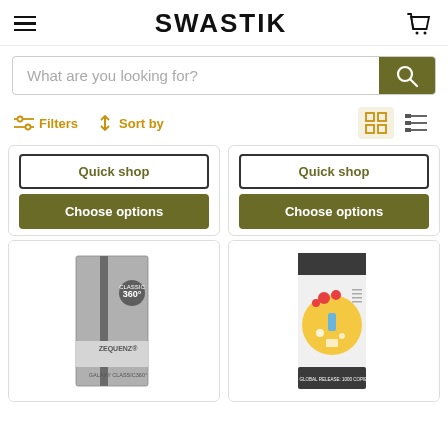SWASTIK
What are you looking for?
Filters   Sort by
Quick shop
Choose options
Quick shop
Choose options
[Figure (photo): Zequenz Classic 360 notebook in grey, Galaxy edition]
[Figure (photo): Limited global release notebook with floral illustration on yellow background, 1000 copies only]